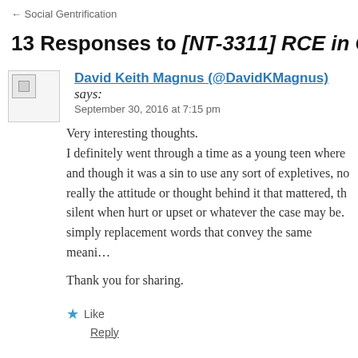← Social Gentrification
13 Responses to [NT-3311] RCE in Christia…
David Keith Magnus (@DavidKMagnus) says: September 30, 2016 at 7:15 pm
Very interesting thoughts.
I definitely went through a time as a young teen where and though it was a sin to use any sort of expletives, no really the attitude or thought behind it that mattered, th silent when hurt or upset or whatever the case may be. simply replacement words that convey the same meani…
Thank you for sharing.
★ Like
Reply